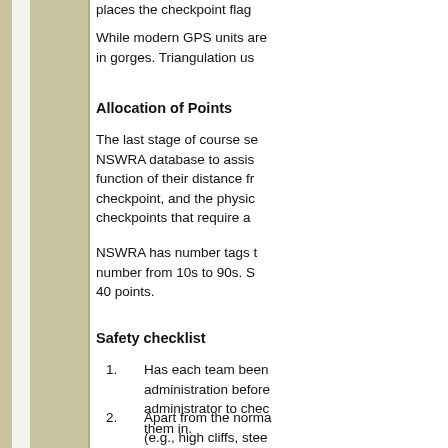places the checkpoint flag
While modern GPS units are... in gorges. Triangulation us...
Allocation of Points
The last stage of course se... NSWRA database to assis... function of their distance fr... checkpoint, and the physic... checkpoints that require a...
NSWRA has number tags t... number from 10s to 90s. S... 40 points.
Safety checklist
1. Has each team been... administration before... administrator to chec... them in.
2. Apart from the norma... (e.g., high cliffs, stee... the Course Setter's r... event.
3. Is there sufficient saf...
4. Have competitors be...